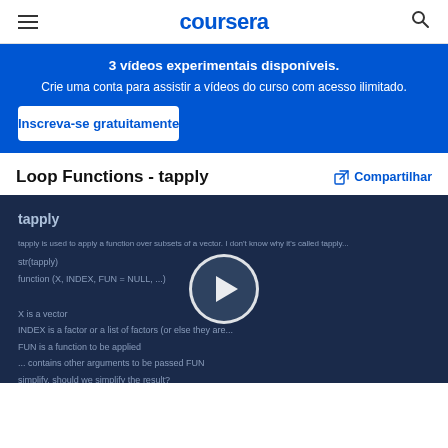coursera
3 vídeos experimentais disponíveis. Crie uma conta para assistir a vídeos do curso com acesso ilimitado.
Inscreva-se gratuitamente
Loop Functions - tapply
Compartilhar
[Figure (screenshot): Video thumbnail showing a lecture slide titled 'tapply' with text about applying a function over subsets of a vector, with a play button overlay in the center on a dark blue background.]